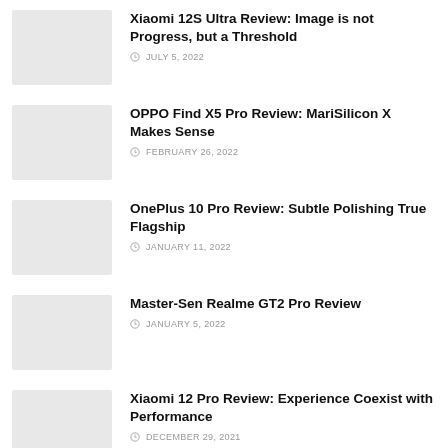Xiaomi 12S Ultra Review: Image is not Progress, but a Threshold
JULY 5, 2022
OPPO Find X5 Pro Review: MariSilicon X Makes Sense
FEBRUARY 26, 2022
OnePlus 10 Pro Review: Subtle Polishing True Flagship
JANUARY 11, 2022
Master-Sen Realme GT2 Pro Review
JANUARY 5, 2022
Xiaomi 12 Pro Review: Experience Coexist with Performance
DECEMBER 29, 2021
OPPO Find N Review: Reimagined Foldable Phone